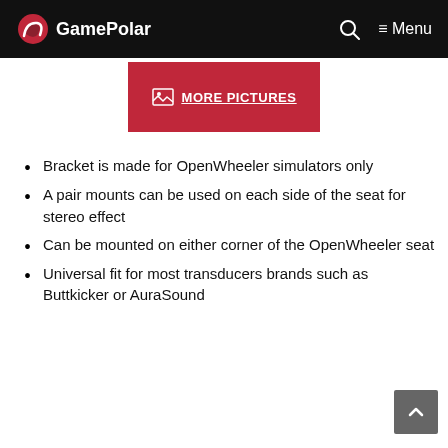GamePolar — Menu
[Figure (other): Red button with image icon and 'MORE PICTURES' underlined text]
Bracket is made for OpenWheeler simulators only
A pair mounts can be used on each side of the seat for stereo effect
Can be mounted on either corner of the OpenWheeler seat
Universal fit for most transducers brands such as Buttkicker or AuraSound